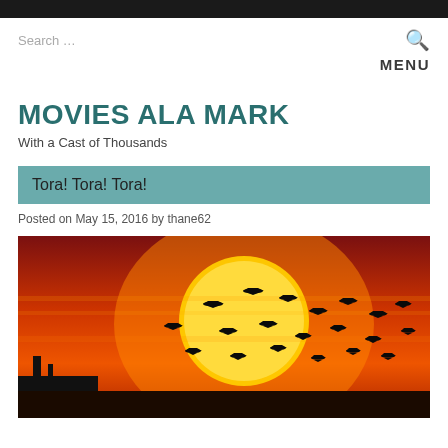Search …
MENU
MOVIES ALA MARK
With a Cast of Thousands
Tora! Tora! Tora!
Posted on May 15, 2016 by thane62
[Figure (photo): Silhouettes of military aircraft flying in formation against a dramatic sunset sky with a large orange sun disc in the background. A ship or structure silhouette is visible at lower left.]